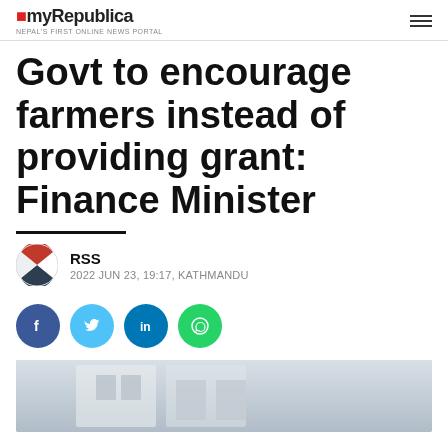myRepublica — NEPAL'S FIRST ONLINE NEWS PORTAL
Govt to encourage farmers instead of providing grant: Finance Minister
RSS
2022 JUN 23, 19:17, KATHMANDU
[Figure (other): Social media share buttons: Facebook, Twitter, LinkedIn, WhatsApp]
[Figure (photo): Partial photo of a building exterior, likely a government or institutional building]